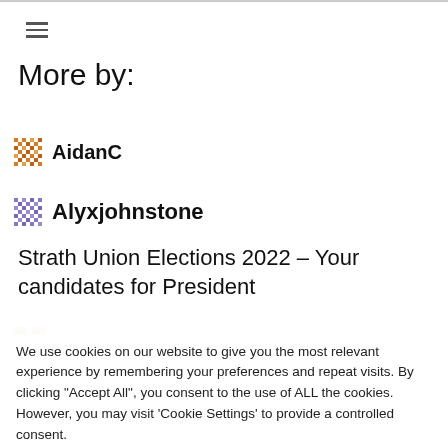≡
More by:
AidanC
Alyxjohnstone
Strath Union Elections 2022 – Your candidates for President
We use cookies on our website to give you the most relevant experience by remembering your preferences and repeat visits. By clicking "Accept All", you consent to the use of ALL the cookies. However, you may visit 'Cookie Settings' to provide a controlled consent.
Cookie Settings
Accept All